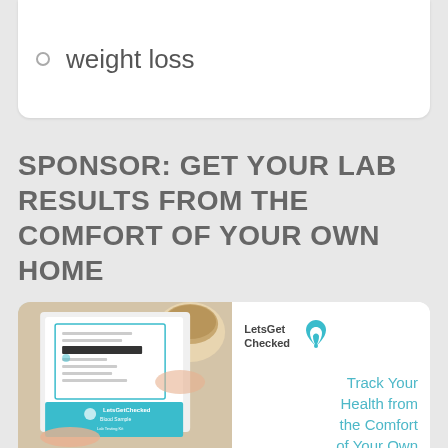weight loss
SPONSOR: GET YOUR LAB RESULTS FROM THE COMFORT OF YOUR OWN HOME
[Figure (photo): Advertisement for LetsGetChecked showing a hand holding a medical home test kit box alongside a photo of hands opening a test kit with a coffee cup in the background. Text reads: Track Your Health from the Comfort of Your Own Home]